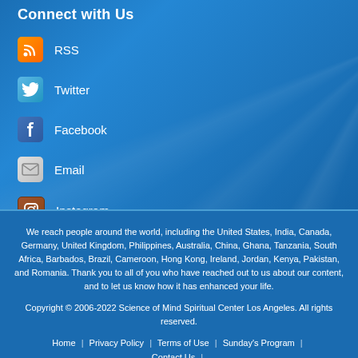Connect with Us
RSS
Twitter
Facebook
Email
Instagram
We reach people around the world, including the United States, India, Canada, Germany, United Kingdom, Philippines, Australia, China, Ghana, Tanzania, South Africa, Barbados, Brazil, Cameroon, Hong Kong, Ireland, Jordan, Kenya, Pakistan, and Romania. Thank you to all of you who have reached out to us about our content, and to let us know how it has enhanced your life.
Copyright © 2006-2022 Science of Mind Spiritual Center Los Angeles. All rights reserved.
Home | Privacy Policy | Terms of Use | Sunday's Program | Contact Us |